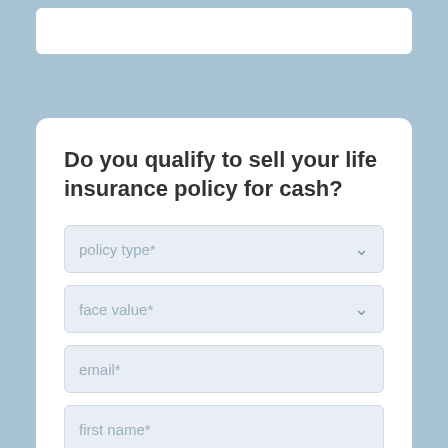Do you qualify to sell your life insurance policy for cash?
policy type*
face value*
email*
first name*
last name*
phone*